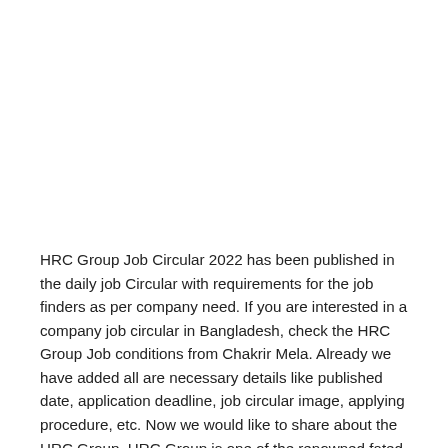HRC Group Job Circular 2022 has been published in the daily job Circular with requirements for the job finders as per company need. If you are interested in a company job circular in Bangladesh, check the HRC Group Job conditions from Chakrir Mela. Already we have added all are necessary details like published date, application deadline, job circular image, applying procedure, etc. Now we would like to share about the HRC Group. HRC Group is one of the renowned fated growing multinational companies in Bangladesh that work in various sectors and provides many services. For more information, please go to http://www.hrcbd.com/ company website. Anyway, hope you have got the idea of the HRC Group Job Circular